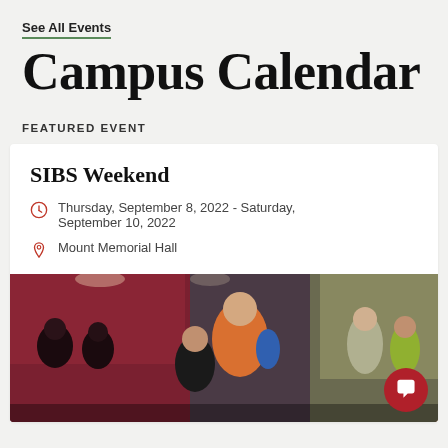See All Events
Campus Calendar
FEATURED EVENT
SIBS Weekend
Thursday, September 8, 2022 - Saturday, September 10, 2022
Mount Memorial Hall
[Figure (photo): Students gathered at a campus event, smiling and socializing indoors, with a dark red accent wall and display tables in the background. A red circular chat button overlay appears in the bottom right corner.]